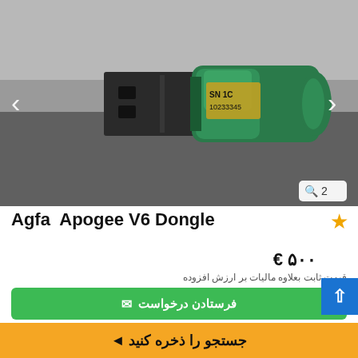[Figure (photo): A green USB dongle (Agfa Apogee V6) photographed on a grey surface, showing the USB connector and green translucent body with a label reading SN 1C 10233345]
Agfa  Apogee V6 Dongle
۵۰۰ €
قیمت ثابت بعلاوه مالیات بر ارزش افزوده
✉ فرستادن درخواست
جستجو را ذخره کنید ◀